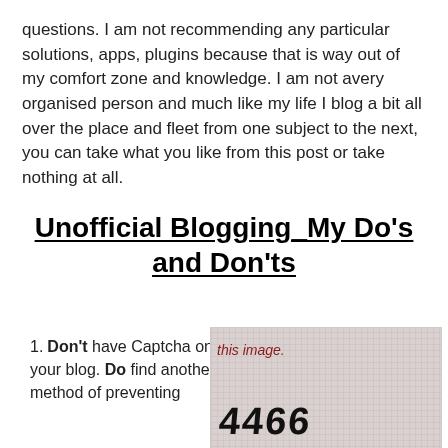questions. I am not recommending any particular solutions, apps, plugins because that is way out of my comfort zone and knowledge. I am not avery organised person and much like my life I blog a bit all over the place and fleet from one subject to the next, you can take what you like from this post or take nothing at all.
Unofficial Blogging_My Do's and Don'ts
Don't have Captcha on your blog. Do find another method of preventing
[Figure (screenshot): A CAPTCHA image showing distorted text characters on a grid background with red text 'this image.' and handwritten-style code characters below]